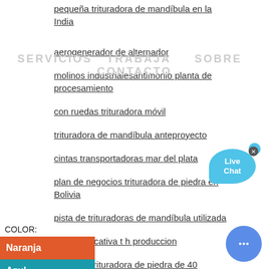pequeña trituradora de mandíbula en la India
SERVICIOS  TRABAJA    SOBRE  CONTACTO
aerogenerador de alternador
molinos industrialesantimonio planta de procesamiento
con ruedas trituradora móvil
trituradora de mandíbula anteproyecto
cintas transportadoras mar del plata
plan de negocios trituradora de piedra en Bolivia
pista de trituradoras de mandíbula utilizada
eso significativa t h produccion
proyecto trituradora de piedra de 40